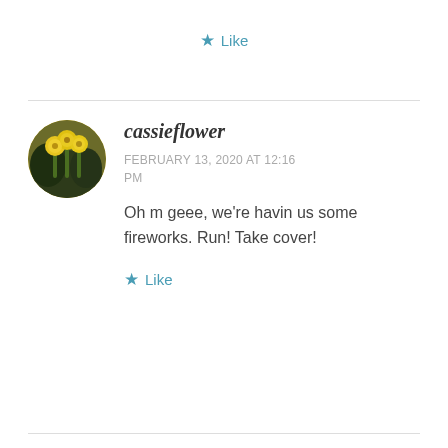★ Like
[Figure (photo): Circular avatar photo of yellow flowers (cassieflower user profile image)]
cassieflower
FEBRUARY 13, 2020 AT 12:16 PM
Oh m geee, we're havin us some fireworks. Run! Take cover!
★ Like